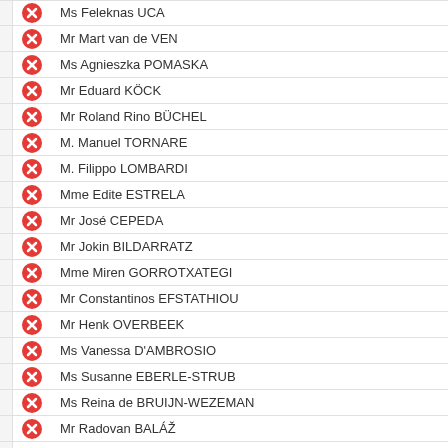Ms Feleknas UCA
Mr Mart van de VEN
Ms Agnieszka POMASKA
Mr Eduard KÖCK
Mr Roland Rino BÜCHEL
M. Manuel TORNARE
M. Filippo LOMBARDI
Mme Edite ESTRELA
Mr José CEPEDA
Mr Jokin BILDARRATZ
Mme Miren GORROTXATEGI
Mr Constantinos EFSTATHIOU
Mr Henk OVERBEEK
Ms Vanessa D'AMBROSIO
Ms Susanne EBERLE-STRUB
Ms Reina de BRUIJN-WEZEMAN
Mr Radovan BALÁŽ